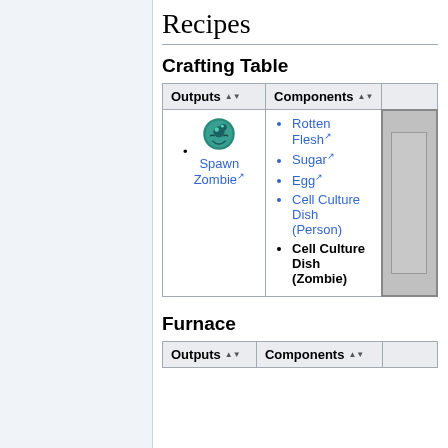Recipes
Crafting Table
| Outputs | Components |  |
| --- | --- | --- |
| • [icon] Spawn Zombie↗ | • Rotten Flesh↗
• Sugar↗
• Egg↗
• Cell Culture Dish (Person)
• Cell Culture Dish (Zombie) | [crafting grid] |
Furnace
| Outputs | Components |  |
| --- | --- | --- |